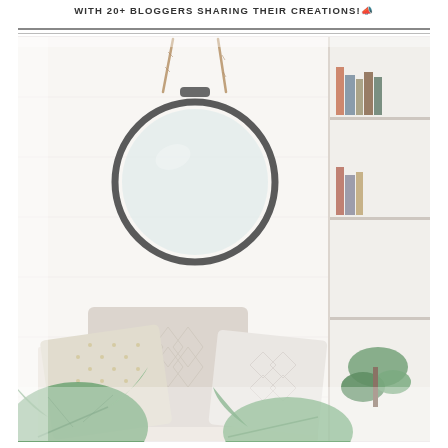WITH 20+ BLOGGERS SHARING THEIR CREATIONS!
[Figure (photo): Interior room photo showing a round dark-framed mirror hanging by a rope on a white wall, with patterned decorative pillows on a bed/couch below, and green tropical plants in the foreground. On the right edge, a partial view of a shelving unit with books and a plant.]